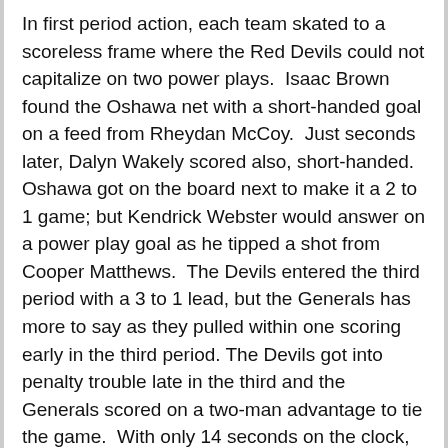In first period action, each team skated to a scoreless frame where the Red Devils could not capitalize on two power plays.  Isaac Brown found the Oshawa net with a short-handed goal on a feed from Rheydan McCoy.  Just seconds later, Dalyn Wakely scored also, short-handed.  Oshawa got on the board next to make it a 2 to 1 game; but Kendrick Webster would answer on a power play goal as he tipped a shot from Cooper Matthews.  The Devils entered the third period with a 3 to 1 lead, but the Generals has more to say as they pulled within one scoring early in the third period. The Devils got into penalty trouble late in the third and the Generals scored on a two-man advantage to tie the game.  With only 14 seconds on the clock, the Generals pulled their goalie and scored the game winner to steal the win by a score of 4 to 3.  Andrew Munro was in goal for the Devils.